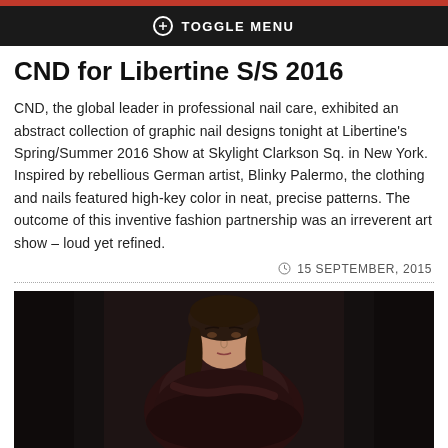TOGGLE MENU
CND for Libertine S/S 2016
CND, the global leader in professional nail care, exhibited an abstract collection of graphic nail designs tonight at Libertine’s Spring/Summer 2016 Show at Skylight Clarkson Sq. in New York. Inspired by rebellious German artist, Blinky Palermo, the clothing and nails featured high-key color in neat, precise patterns. The outcome of this inventive fashion partnership was an irreverent art show – loud yet refined.
15 SEPTEMBER, 2015
[Figure (photo): Fashion model with straight brown hair wearing a dark burgundy/black textured coat or sweater, photographed against a dark background at the Libertine Spring/Summer 2016 show at Skylight Clarkson Sq.]